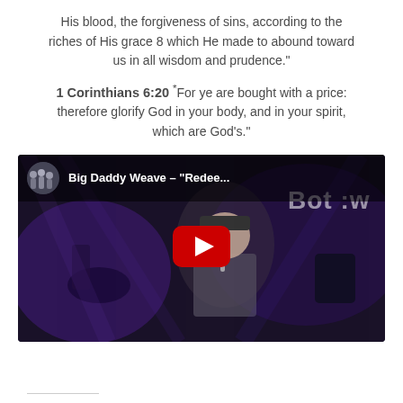His blood, the forgiveness of sins, according to the riches of His grace 8 which He made to abound toward us in all wisdom and prudence."
1 Corinthians 6:20 *For ye are bought with a price: therefore glorify God in your body, and in your spirit, which are God's."
[Figure (screenshot): YouTube video embed thumbnail showing a man singing on stage with a plaid shirt and cap, purple stage lighting, drums in background. Video title reads 'Big Daddy Weave - "Redee...' with a YouTube play button overlay.]